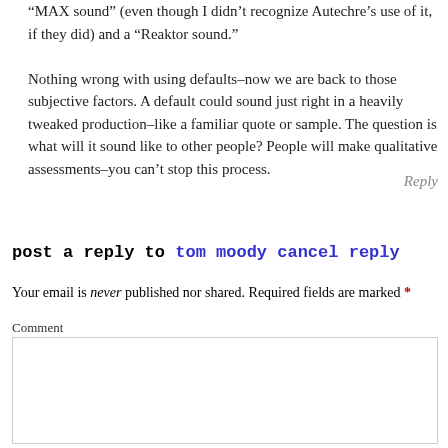“MAX sound” (even though I didn’t recognize Autechre’s use of it, if they did) and a “Reaktor sound.”

Nothing wrong with using defaults–now we are back to those subjective factors. A default could sound just right in a heavily tweaked production–like a familiar quote or sample. The question is what will it sound like to other people? People will make qualitative assessments–you can’t stop this process.
Reply
post a reply to tom moody cancel reply
Your email is never published nor shared. Required fields are marked *
Comment